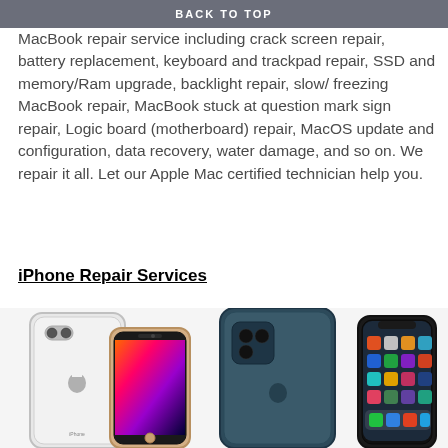BACK TO TOP
MacBook repair service including crack screen repair, battery replacement, keyboard and trackpad repair, SSD and memory/Ram upgrade, backlight repair, slow/ freezing MacBook repair, MacBook stuck at question mark sign repair, Logic board (motherboard) repair, MacOS update and configuration, data recovery, water damage, and so on. We repair it all. Let our Apple Mac certified technician help you.
iPhone Repair Services
[Figure (photo): Photo showing four iPhones side by side: iPhone 8 Plus (white, back view), iPhone 8 (gold, front view showing colorful screen), iPhone 12 Pro (blue/teal, back view), and iPhone X (front view showing home screen with apps)]